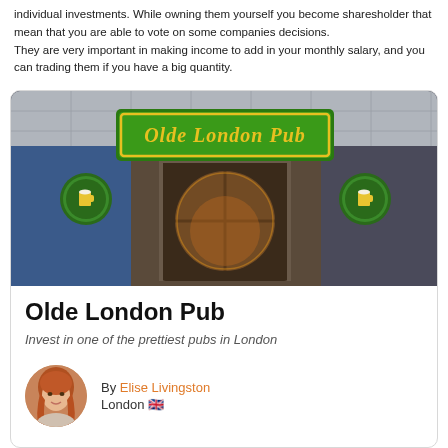individual investments. While owning them yourself you become sharesholder that mean that you are able to vote on some companies decisions.
They are very important in making income to add in your monthly salary, and you can trading them if you have a big quantity.
[Figure (photo): Photo of the Olde London Pub entrance showing a green sign with yellow text reading 'Olde London Pub', revolving doors, and circular beer logo signs on either side.]
Olde London Pub
Invest in one of the prettiest pubs in London
By Elise Livingston
London